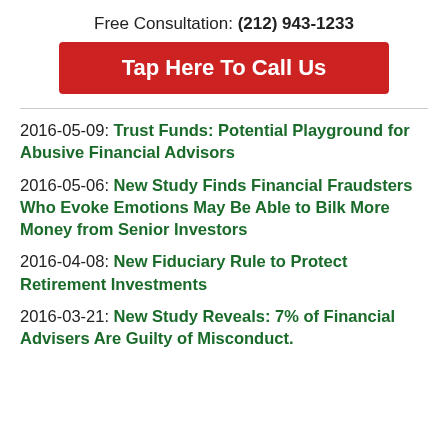Free Consultation: (212) 943-1233
Tap Here To Call Us
2016-05-09: Trust Funds: Potential Playground for Abusive Financial Advisors
2016-05-06: New Study Finds Financial Fraudsters Who Evoke Emotions May Be Able to Bilk More Money from Senior Investors
2016-04-08: New Fiduciary Rule to Protect Retirement Investments
2016-03-21: New Study Reveals: 7% of Financial Advisers Are Guilty of Misconduct.